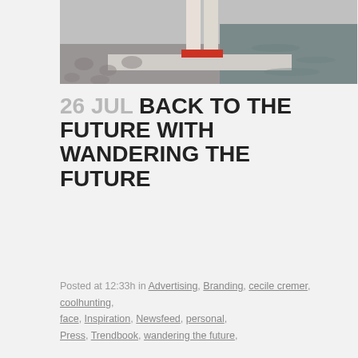[Figure (photo): Cropped photo showing feet/lower legs of a person wearing red sandals, standing on a concrete ledge near water with cobblestones visible]
26 JUL BACK TO THE FUTURE WITH WANDERING THE FUTURE
Posted at 12:33h in Advertising, Branding, cecile cremer, coolhunting, face, Inspiration, Newsfeed, personal, Press, Trendbook, wandering the future,